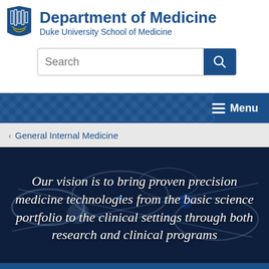[Figure (logo): Duke University Department of Medicine shield logo with text 'Department of Medicine' and 'Duke University School of Medicine']
[Figure (screenshot): Search bar with search button]
Menu
< General Internal Medicine
Our vision is to bring proven precision medicine technologies from the basic science portfolio to the clinical settings through both research and clinical programs